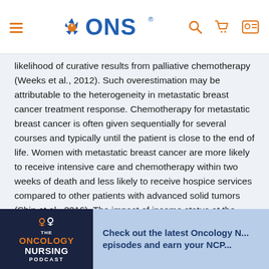ONS header navigation with logo, menu, search, cart, and account icons
likelihood of curative results from palliative chemotherapy (Weeks et al., 2012). Such overestimation may be attributable to the heterogeneity in metastatic breast cancer treatment response. Chemotherapy for metastatic breast cancer is often given sequentially for several courses and typically until the patient is close to the end of life. Women with metastatic breast cancer are more likely to receive intensive care and chemotherapy within two weeks of death and less likely to receive hospice services compared to other patients with advanced solid tumors (Shin et al., 2016). The impact of income status at the time of metastatic breast cancer diagnosis on financial
[Figure (infographic): Bottom banner showing The Oncology Nursing Podcast logo on dark navy background alongside text: Check out the latest Oncology N... episodes and earn your NCP...]